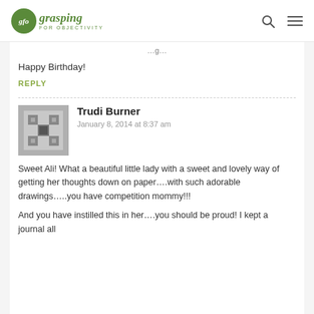gfo grasping FOR OBJECTIVITY
Happy Birthday!
REPLY
Trudi Burner
January 8, 2014 at 8:37 am
Sweet Ali! What a beautiful little lady with a sweet and lovely way of getting her thoughts down on paper….with such adorable drawings…..you have competition mommy!!!
And you have instilled this in her….you should be proud! I kept a journal all